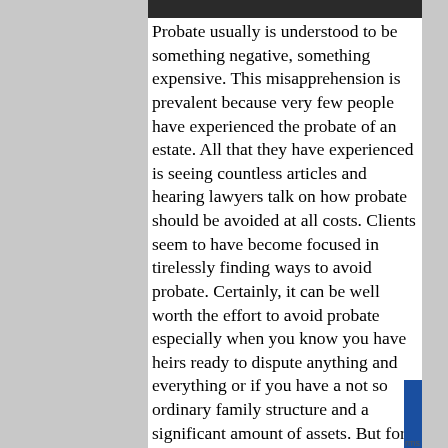[Figure (photo): Partial photo strip at top of content area, showing a dark image (person in suit)]
Probate usually is understood to be something negative, something expensive. This misapprehension is prevalent because very few people have experienced the probate of an estate. All that they have experienced is seeing countless articles and hearing lawyers talk on how probate should be avoided at all costs. Clients seem to have become focused in tirelessly finding ways to avoid probate. Certainly, it can be well worth the effort to avoid probate especially when you know you have heirs ready to dispute anything and everything or if you have a not so ordinary family structure and a significant amount of assets. But for most people with modest estates and a relatively civil family, going through probate is not as bad as many estate